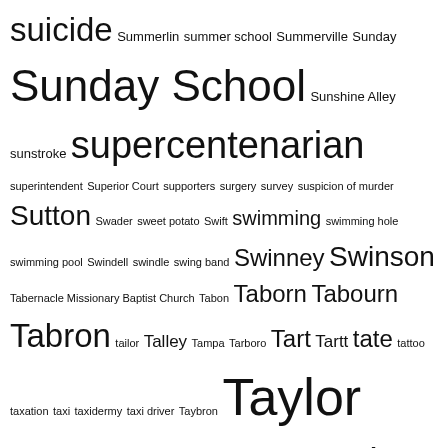[Figure (other): Tag cloud / word cloud with terms related to topics starting with S through T, with word sizes reflecting frequency or importance. Largest words include Sunday School, supercentenarian, Taylor, teacher, tenant farmer, tobacco culture, tobacco factory, Thomas, tobacco warehouse, tobacco workers, Tobacco Workers International Union, Toisnot.]